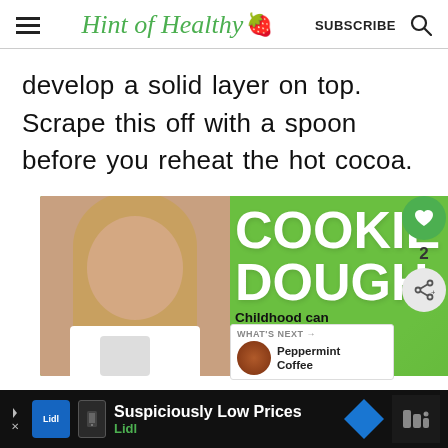Hint of Healthy 🍓 | SUBSCRIBE
develop a solid layer on top. Scrape this off with a spoon before you reheat the hot cocoa.
[Figure (screenshot): Advertisement banner showing a girl holding a jar of money with text 'COOKIE DOUGH - Childhood can't didn't stop for COVID-19.' on a green background. Sidebar shows heart (like) button, count 2, share button, and a 'What's Next → Peppermint Coffee' panel.]
[Figure (screenshot): Bottom advertisement banner for Lidl: 'Suspiciously Low Prices / Lidl' with Lidl logo, navigation arrow icon, and a Moovit-style icon on dark background.]